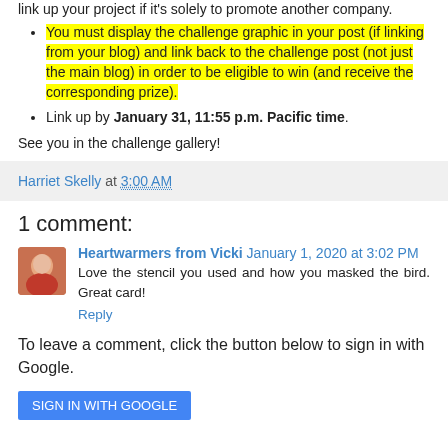link up your project if it's solely to promote another company.
You must display the challenge graphic in your post (if linking from your blog) and link back to the challenge post (not just the main blog) in order to be eligible to win (and receive the corresponding prize).
Link up by January 31, 11:55 p.m. Pacific time.
See you in the challenge gallery!
Harriet Skelly at 3:00 AM
1 comment:
Heartwarmers from Vicki  January 1, 2020 at 3:02 PM
Love the stencil you used and how you masked the bird. Great card!
Reply
To leave a comment, click the button below to sign in with Google.